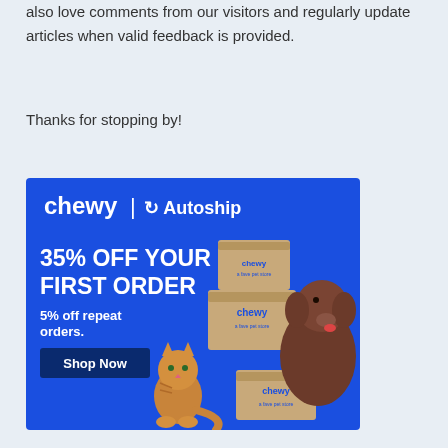also love comments from our visitors and regularly update articles when valid feedback is provided.
Thanks for stopping by!
[Figure (illustration): Chewy Autoship advertisement banner. Blue background with Chewy | Autoship branding at top. Text reads '35% OFF YOUR FIRST ORDER' and '5% off repeat orders.' A 'Shop Now' button appears bottom left. A cat and dog are shown with Chewy branded boxes on the right side.]